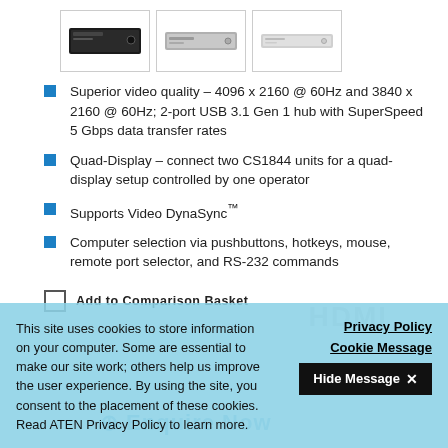[Figure (photo): Three product thumbnail images of the CS1844 KVM switch shown side by side in bordered boxes]
Superior video quality – 4096 x 2160 @ 60Hz and 3840 x 2160 @ 60Hz; 2-port USB 3.1 Gen 1 hub with SuperSpeed 5 Gbps data transfer rates
Quad-Display – connect two CS1844 units for a quad-display setup controlled by one operator
Supports Video DynaSync™
Computer selection via pushbuttons, hotkeys, mouse, remote port selector, and RS-232 commands
Add to Comparison Basket
This site uses cookies to store information on your computer. Some are essential to make our site work; others help us improve the user experience. By using the site, you consent to the placement of these cookies. Read ATEN Privacy Policy to learn more.
Privacy Policy
Cookie Message
Hide Message ✕